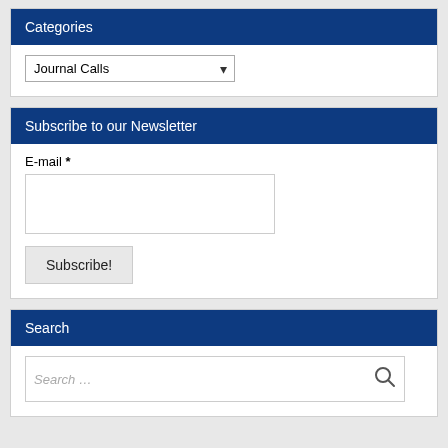Categories
Journal Calls
Subscribe to our Newsletter
E-mail *
Subscribe!
Search
Search …